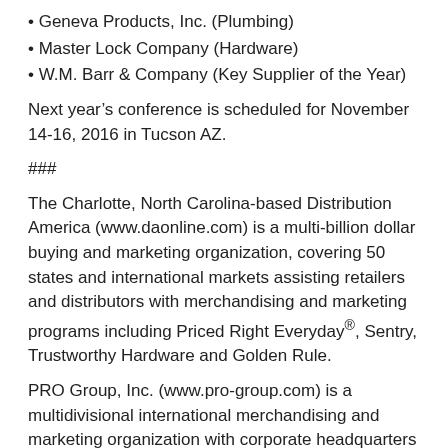Geneva Products, Inc. (Plumbing)
Master Lock Company (Hardware)
W.M. Barr & Company (Key Supplier of the Year)
Next year’s conference is scheduled for November 14-16, 2016 in Tucson AZ.
###
The Charlotte, North Carolina-based Distribution America (www.daonline.com) is a multi-billion dollar buying and marketing organization, covering 50 states and international markets assisting retailers and distributors with merchandising and marketing programs including Priced Right Everyday®, Sentry, Trustworthy Hardware and Golden Rule.
PRO Group, Inc. (www.pro-group.com) is a multidivisional international merchandising and marketing organization with corporate headquarters in Denver. Its operating units include PRO Hardware, GardenMaster, FARM MART and GOLDEN-LINK. The company’s purchasing power exceeds $3 billion through its member distributors.